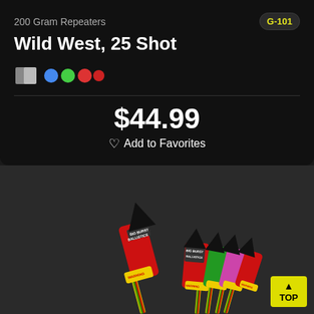200 Gram Repeaters
G-101
Wild West, 25 Shot
[Figure (illustration): Color swatches and dot icons representing firework colors]
$44.99
Add to Favorites
[Figure (photo): Product photo of Big Burst Ballistics firework rockets in red, green, and pink packaging with black cone tops and colorful striped sticks, arranged as a group]
TOP